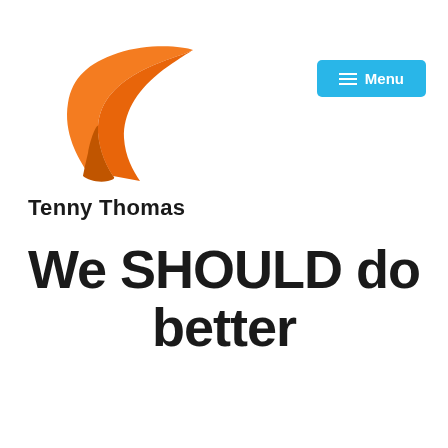[Figure (logo): Tenny Thomas logo: orange swoosh/ribbon shape resembling a stylized letter Z or bird wing]
[Figure (other): Blue menu button with three horizontal lines icon and text 'Menu']
Tenny Thomas
We SHOULD do better